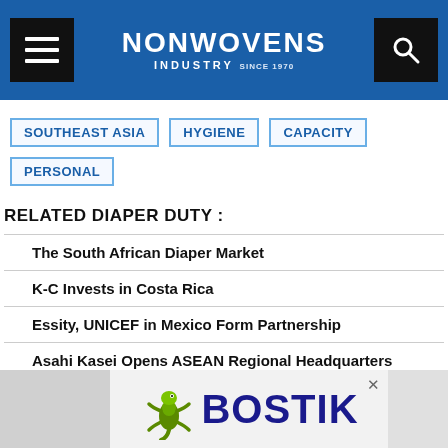NONWOVENS INDUSTRY
SOUTHEAST ASIA
HYGIENE
CAPACITY
PERSONAL
RELATED DIAPER DUTY :
The South African Diaper Market
K-C Invests in Costa Rica
Essity, UNICEF in Mexico Form Partnership
Asahi Kasei Opens ASEAN Regional Headquarters
Essity Posts Sales Growth in Q2
[Figure (logo): Bostik advertisement banner with gecko logo and Bostik brand name]